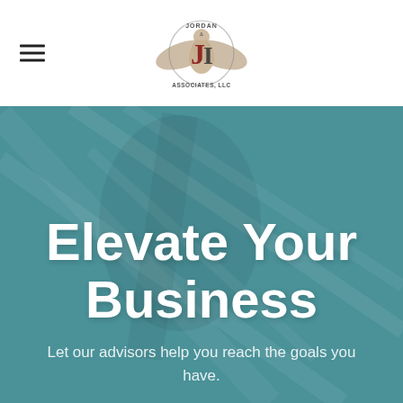[Figure (logo): Jordan & Associates LLC company logo with stylized eagle and interlocked J and I letters, centered in white navigation bar]
Elevate Your Business
Let our advisors help you reach the goals you have.